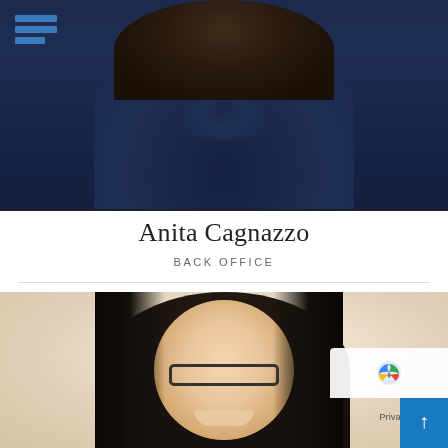[Figure (photo): Top portion showing a person wearing a dark navy blue ruffled blouse, with curly hair; a blue logo with three horizontal bars appears in the top-left corner]
Anita Cagnazzo
BACK OFFICE
[Figure (photo): Portrait photo of a young woman with long dark hair, wearing glasses, smiling; beige/cream background; a Google reCAPTCHA badge and a blue scroll-to-top button appear overlaid in the bottom-right corner; 'Privacy · Terms' text visible]